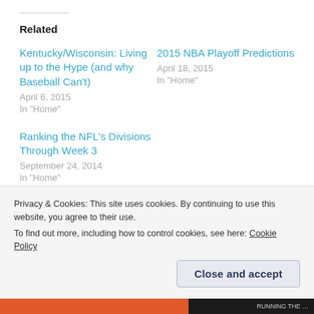Related
Kentucky/Wisconsin: Living up to the Hype (and why Baseball Can't)
April 6, 2015
In "Home"
2015 NBA Playoff Predictions
April 18, 2015
In "Home"
Ranking the NFL's Divisions Through Week 3
September 24, 2014
In "Home"
Privacy & Cookies: This site uses cookies. By continuing to use this website, you agree to their use.
To find out more, including how to control cookies, see here: Cookie Policy
Close and accept